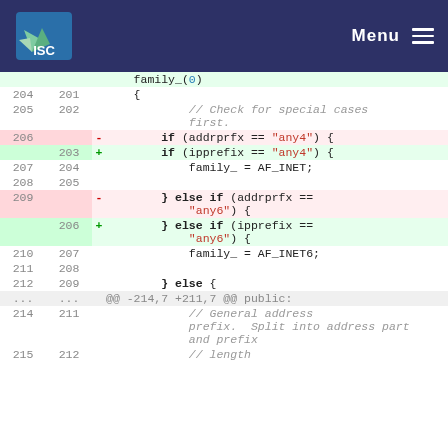ISC Menu
[Figure (screenshot): Code diff view showing changes from addrprfx to ipprefix variable name. Lines 204-215 shown with line numbers, removals highlighted in pink and additions in green.]